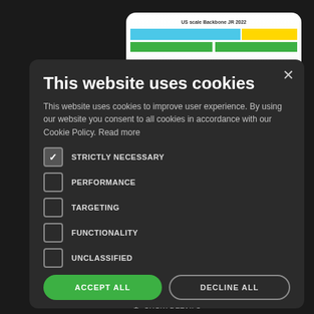[Figure (screenshot): Background website screenshot showing a data visualization chart with colored dot markers and bar chart elements, partially visible behind the cookie consent modal.]
This website uses cookies
This website uses cookies to improve user experience. By using our website you consent to all cookies in accordance with our Cookie Policy. Read more
STRICTLY NECESSARY (checked)
PERFORMANCE
TARGETING
FUNCTIONALITY
UNCLASSIFIED
ACCEPT ALL   DECLINE ALL
SHOW DETAILS